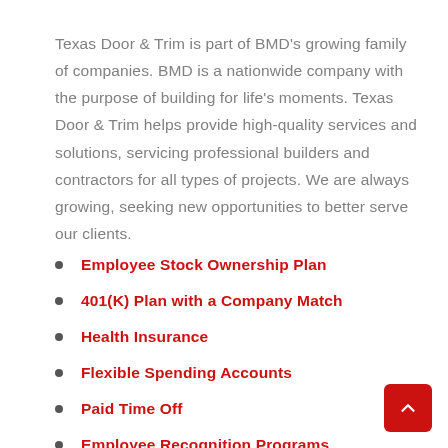Texas Door & Trim is part of BMD's growing family of companies. BMD is a nationwide company with the purpose of building for life's moments. Texas Door & Trim helps provide high-quality services and solutions, servicing professional builders and contractors for all types of projects. We are always growing, seeking new opportunities to better serve our clients.
Employee Stock Ownership Plan
401(K) Plan with a Company Match
Health Insurance
Flexible Spending Accounts
Paid Time Off
Employee Recognition Programs
Professional Development Programs
Scholarships for Employees' Children